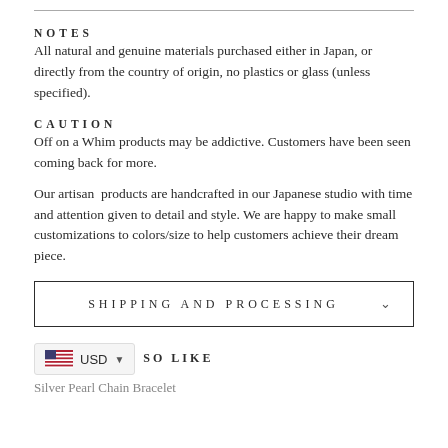NOTES
All natural and genuine materials purchased either in Japan, or directly from the country of origin, no plastics or glass (unless specified).
CAUTION
Off on a Whim products may be addictive. Customers have been seen coming back for more.
Our artisan products are handcrafted in our Japanese studio with time and attention given to detail and style. We are happy to make small customizations to colors/size to help customers achieve their dream piece.
SHIPPING AND PROCESSING
YOU MAY ALSO LIKE
Silver Pearl Chain Bracelet